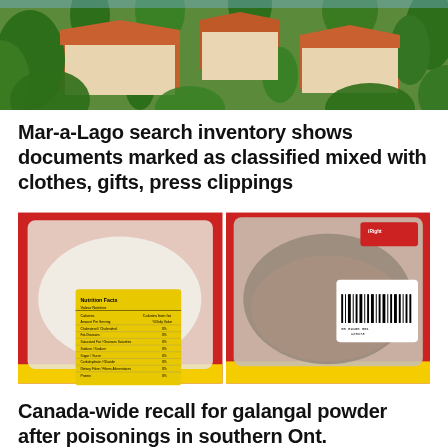[Figure (photo): Aerial photo of a large estate with terracotta roofs surrounded by tropical trees and palm trees, likely Mar-a-Lago.]
Mar-a-Lago search inventory shows documents marked as classified mixed with clothes, gifts, press clippings
[Figure (photo): Two product images side by side: left shows the back of a clear plastic package with a yellow nutrition facts label with red packaging; right shows a clear plastic bag containing a brownish-gray powder with a red and yellow package label reading 'iRight' with a barcode sticker.]
Canada-wide recall for galangal powder after poisonings in southern Ont.